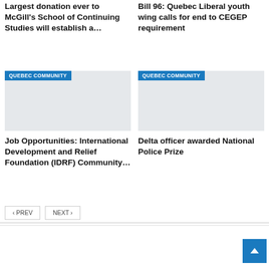Largest donation ever to McGill's School of Continuing Studies will establish a…
Bill 96: Quebec Liberal youth wing calls for end to CEGEP requirement
QUEBEC COMMUNITY
[Figure (photo): Gray placeholder image with Quebec Community badge]
Job Opportunities: International Development and Relief Foundation (IDRF) Community…
QUEBEC COMMUNITY
[Figure (photo): Gray placeholder image with Quebec Community badge]
Delta officer awarded National Police Prize
PREV
NEXT